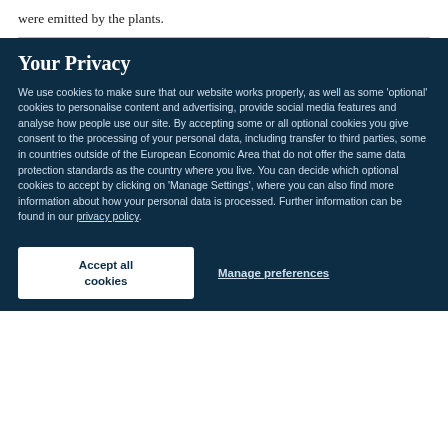were emitted by the plants.
Your Privacy
We use cookies to make sure that our website works properly, as well as some ‘optional’ cookies to personalise content and advertising, provide social media features and analyse how people use our site. By accepting some or all optional cookies you give consent to the processing of your personal data, including transfer to third parties, some in countries outside of the European Economic Area that do not offer the same data protection standards as the country where you live. You can decide which optional cookies to accept by clicking on ‘Manage Settings’, where you can also find more information about how your personal data is processed. Further information can be found in our privacy policy.
Accept all cookies
Manage preferences